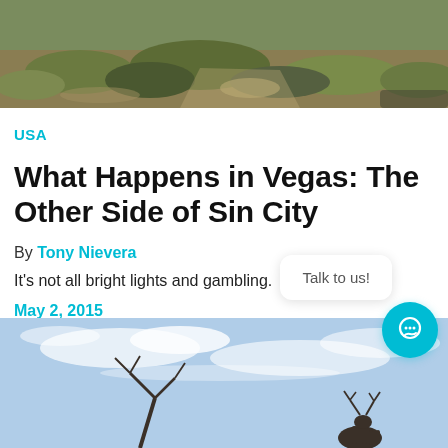[Figure (photo): Top portion of a desert/scrubland landscape with dry brush and sandy terrain]
USA
What Happens in Vegas: The Other Side of Sin City
By Tony Nievera
It's not all bright lights and gambling.
May 2, 2015
[Figure (photo): Deer silhouetted against a blue sky with bare tree branches, partial view at bottom of page]